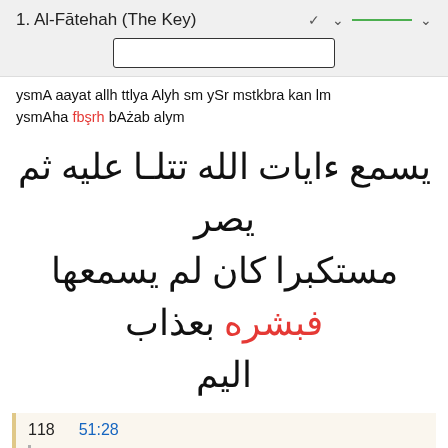1. Al-Fātehah (The Key)
ysmA aayat allh ttlya Alyh sm ySr mstkbra kan lm ysmAha fbşrh bAżab alym
يسمع ءايات الله تتلـا عليه ثم يصر مستكبرا كان لم يسمعها فبشره بعذاب اليم
118  51:28  [And when he saw that the guests would not eat,] he became apprehensive of them;* [but] they said, 'Fear not' - and gave him the glad tiding of [the birth of] a son